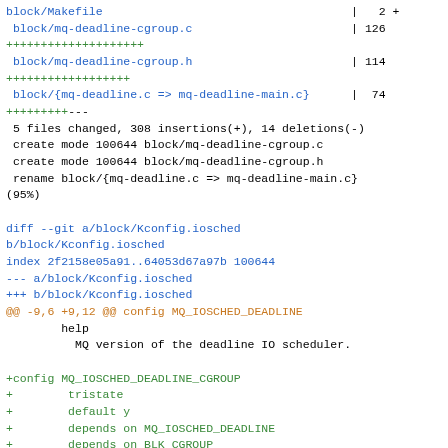block/Makefile | 2 +
block/mq-deadline-cgroup.c | 126
++++++++++++++++++++
block/mq-deadline-cgroup.h | 114
++++++++++++++++++
block/{mq-deadline.c => mq-deadline-main.c} | 74
+++++++++---
5 files changed, 308 insertions(+), 14 deletions(-)
create mode 100644 block/mq-deadline-cgroup.c
create mode 100644 block/mq-deadline-cgroup.h
rename block/{mq-deadline.c => mq-deadline-main.c}
(95%)

diff --git a/block/Kconfig.iosched
b/block/Kconfig.iosched
index 2f2158e05a91..64053d67a97b 100644
--- a/block/Kconfig.iosched
+++ b/block/Kconfig.iosched
@@ -9,6 +9,12 @@ config MQ_IOSCHED_DEADLINE
        help
          MQ version of the deadline IO scheduler.

+config MQ_IOSCHED_DEADLINE_CGROUP
+        tristate
+        default y
+        depends on MQ_IOSCHED_DEADLINE
+        depends on BLK_CGROUP
+
 config MQ_IOSCHED_KYBER
        tristate "Kyber I/O scheduler"